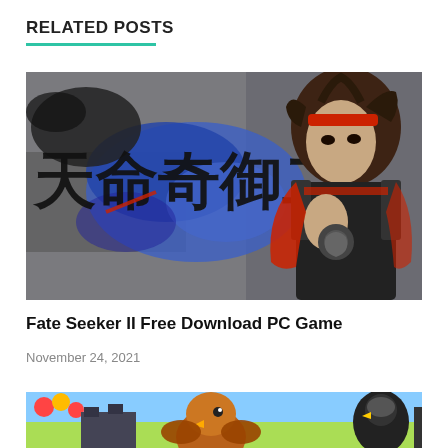RELATED POSTS
[Figure (photo): Fate Seeker II game promotional artwork showing a Chinese warrior character in red and black armor, with Chinese calligraphy text on a stylized background with blue ink art.]
Fate Seeker II Free Download PC Game
November 24, 2021
[Figure (photo): Partial view of a colorful casual game image with cartoon characters including what appears to be a bird or chicken character, with balloons and colorful game elements visible.]